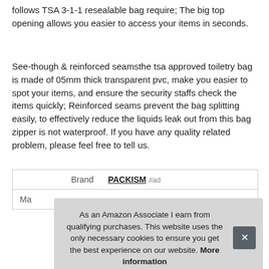follows TSA 3-1-1 resealable bag require; The big top opening allows you easier to access your items in seconds.
See-though & reinforced seamsthe tsa approved toiletry bag is made of 05mm thick transparent pvc, make you easier to spot your items, and ensure the security staffs check the items quickly; Reinforced seams prevent the bag splitting easily, to effectively reduce the liquids leak out from this bag zipper is not waterproof. If you have any quality related problem, please feel free to tell us.
| Brand |  |
| --- | --- |
| Brand | PACKISM #ad |
| Ma |  |
As an Amazon Associate I earn from qualifying purchases. This website uses the only necessary cookies to ensure you get the best experience on our website. More information